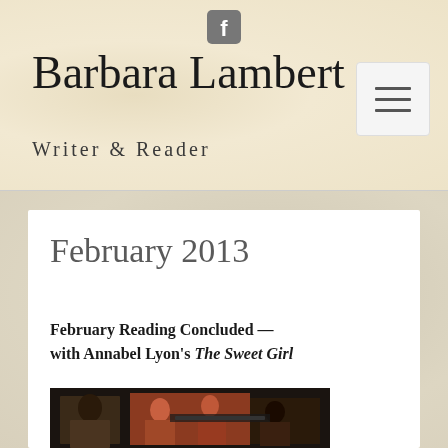[Figure (logo): Facebook icon in grey square style]
Barbara Lambert
Writer & Reader
[Figure (other): Hamburger menu button with three horizontal lines]
February 2013
February Reading Concluded — with Annabel Lyon's The Sweet Girl
[Figure (photo): Book cover image of The Sweet Girl by Annabel Lyon, showing ancient Greek-style figures]